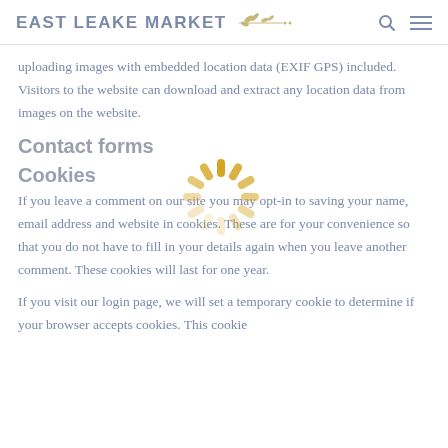EAST LEAKE MARKET
uploading images with embedded location data (EXIF GPS) included. Visitors to the website can download and extract any location data from images on the website.
Contact forms
Cookies
[Figure (other): Loading spinner animation graphic with golden yellow dashes arranged in a circle]
If you leave a comment on our site you may opt-in to saving your name, email address and website in cookies. These are for your convenience so that you do not have to fill in your details again when you leave another comment. These cookies will last for one year.
If you visit our login page, we will set a temporary cookie to determine if your browser accepts cookies. This cookie